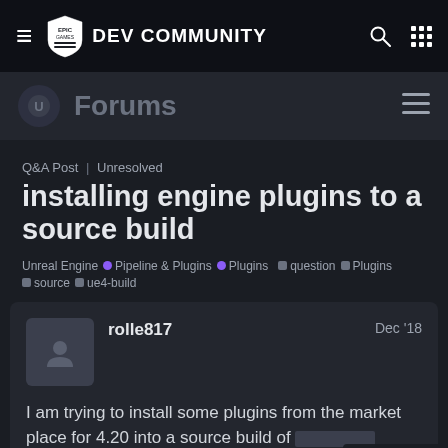Epic Games DEV COMMUNITY
Forums
Q&A Post | Unresolved
installing engine plugins to a source build
Unreal Engine • Pipeline & Plugins • Plugins question Plugins source ue4-build
rolle817  Dec '18
I am trying to install some plugins from the market place for 4.20 into a source build of [image] moved the files all over to the sour
1 / 5